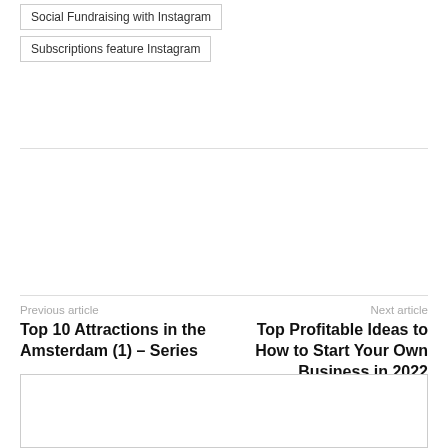Social Fundraising with Instagram
Subscriptions feature Instagram
Previous article
Top 10 Attractions in the Amsterdam (1) – Series
Next article
Top Profitable Ideas to How to Start Your Own Business in 2022